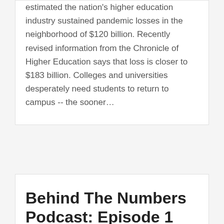estimated the nation's higher education industry sustained pandemic losses in the neighborhood of $120 billion. Recently revised information from the Chronicle of Higher Education says that loss is closer to $183 billion. Colleges and universities desperately need students to return to campus -- the sooner&hellip;
Behind The Numbers Podcast: Episode 1
A new podcast, you say? Indeed! There are a few questions we're always